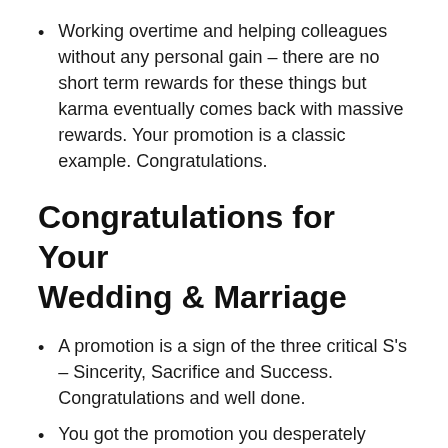Working overtime and helping colleagues without any personal gain – there are no short term rewards for these things but karma eventually comes back with massive rewards. Your promotion is a classic example. Congratulations.
Congratulations for Your Wedding & Marriage
A promotion is a sign of the three critical S's – Sincerity, Sacrifice and Success. Congratulations and well done.
You got the promotion you desperately